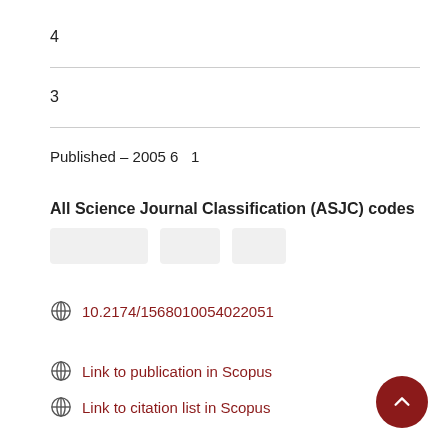4
3
Published - 2005 6   1
All Science Journal Classification (ASJC) codes
[Figure (other): Three blank grey placeholder boxes for ASJC code tags]
10.2174/1568010054022051
Link to publication in Scopus
Link to citation list in Scopus